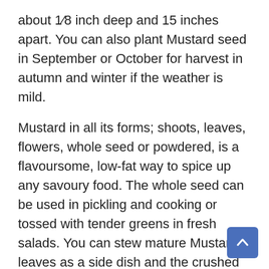about 1/8 inch deep and 15 inches apart. You can also plant Mustard seed in September or October for harvest in autumn and winter if the weather is mild.
Mustard in all its forms; shoots, leaves, flowers, whole seed or powdered, is a flavoursome, low-fat way to spice up any savoury food. The whole seed can be used in pickling and cooking or tossed with tender greens in fresh salads. You can stew mature Mustard leaves as a side dish and the crushed spicy Mustard seed can be used to make a variety of pungent Mustards.
You may have seen the vineyards awash in yellow flowers. Those are Mustard plants, the winemaker's friend. Many vineyard owners